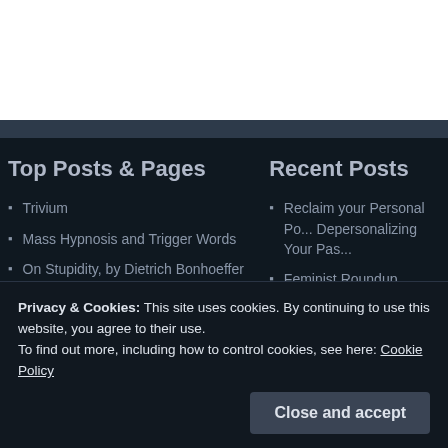Top Posts & Pages
Trivium
Mass Hypnosis and Trigger Words
On Stupidity, by Dietrich Bonhoeffer
How To Become Whole (Carl Jung & The Individuation Process)
Recent Posts
Reclaim your Personal Po... Depersonalizing Your Pas...
Feminist Roundup
What is Shadow Work? R...
Logic and Morality
Is Communism Fueled by...
Privacy & Cookies: This site uses cookies. By continuing to use this website, you agree to their use. To find out more, including how to control cookies, see here: Cookie Policy
Close and accept